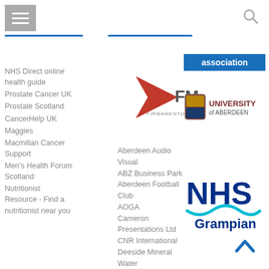[Figure (other): Hamburger menu icon and search icon in top navigation bar]
association
NHS Direct online health guide
Prostate Cancer UK
Prostate Scotland
CancerHelp UK
Maggies
Macmillan Cancer Support
Men's Health Forum Scotland
Nutritionist Resource - Find a nutritionist near you
[Figure (logo): Firma Mentum logo - red arrow with FM letters]
[Figure (logo): University of Aberdeen logo]
Aberdeen Audio Visual
ABZ Business Park
Aberdeen Football Club
AOGA
Cameron Presentations Ltd
CNR International
Deeside Mineral Water
Fairfield Energy
Finnies The Jeweller
[Figure (logo): NHS Grampian logo]